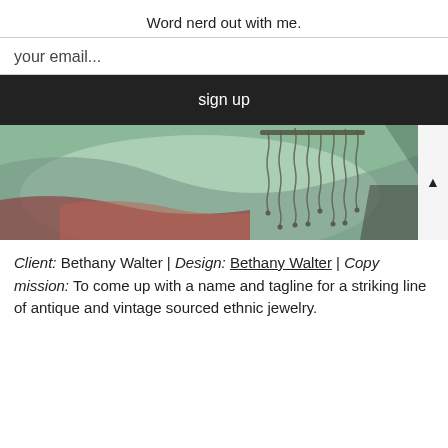Word nerd out with me.
your email...
sign up
[Figure (photo): Close-up photo of antique ethnic jewelry — dangling chain necklace with ball-tipped strands against a pale green fabric, with reddish-brown and dark background elements.]
Client: Bethany Walter | Design: Bethany Walter | Copy mission: To come up with a name and tagline for a striking line of antique and vintage sourced ethnic jewelry.